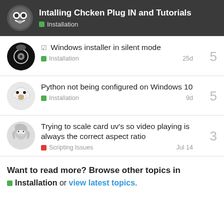Intalling Chcken Plug IN and Tutorials — Installation
Windows installer in silent mode — Installation — 25d — 5 replies
Python not being configured on Windows 10 — Installation — 9d — 5 replies
Trying to scale card uv's so video playing is always the correct aspect ratio — Scripting Issues — Jul 14 — 3 replies
Want to read more? Browse other topics in Installation or view latest topics.